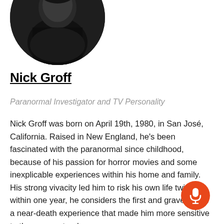[Figure (photo): Circular cropped black and white portrait photo of Nick Groff, showing his head and upper body, dark background]
Nick Groff
Paranormal Investigator and TV Personality
Nick Groff was born on April 19th, 1980, in San José, California. Raised in New England, he's been fascinated with the paranormal since childhood, because of his passion for horror movies and some inexplicable experiences within his home and family. His strong vivacity led him to risk his own life twice within one year, he considers the first and gravest time a near-death experience that made him more sensitive to the supernatural.